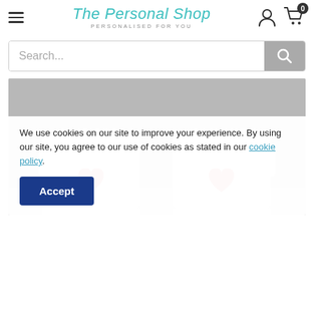The Personal Shop — PERSONALISED FOR YOU
Search...
[Figure (photo): Two white ceramic mugs with red heart designs on them, photographed against a grey background. The mugs are shown from a slightly elevated angle, placed side by side.]
We use cookies on our site to improve your experience. By using our site, you agree to our use of cookies as stated in our cookie policy.
Accept